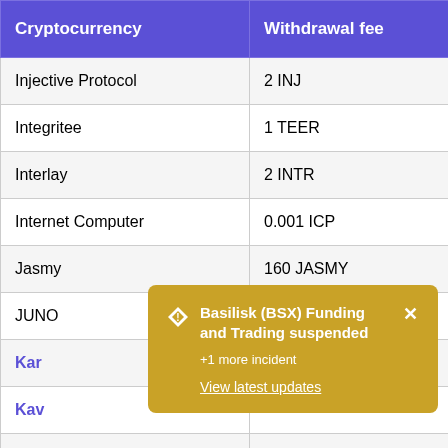| Cryptocurrency | Withdrawal fee |  |
| --- | --- | --- |
| Injective Protocol | 2 INJ |  |
| Integritee | 1 TEER |  |
| Interlay | 2 INTR |  |
| Internet Computer | 0.001 ICP |  |
| Jasmy | 160 JASMY |  |
| JUNO | 0.03 JUNO |  |
| Kar… | …Kar… |  |
| Kav… | … |  |
| Kee… | … |  |
| Kee… | … |  |
| KeeperDAO | 0.1 ROOK |  |
| KILT | 0.2 KILT |  |
Basilisk (BSX) Funding and Trading suspended
+1 more incident
View latest updates